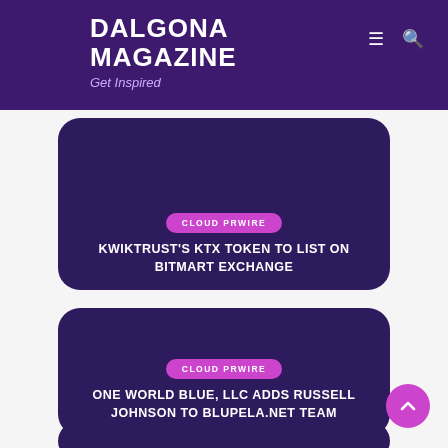DALGONA MAGAZINE
Get Inspired
[Figure (screenshot): Article card with dark purple background, CLOUD PRWIRE category badge, title: KWIKTRUST'S KTX TOKEN TO LIST ON BITMART EXCHANGE]
[Figure (screenshot): Article card with dark purple background, CLOUD PRWIRE category badge, title: ONE WORLD BLUE, LLC ADDS RUSSELL JOHNSON TO BLUPELA.NET TEAM]